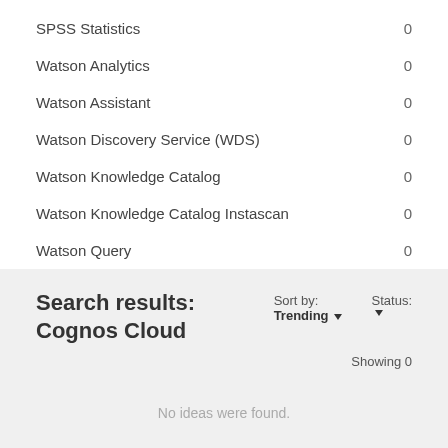SPSS Statistics  0
Watson Analytics  0
Watson Assistant  0
Watson Discovery Service (WDS)  0
Watson Knowledge Catalog  0
Watson Knowledge Catalog Instascan  0
Watson Query  0
Search results: Cognos Cloud
Sort by: Trending
Status:
Showing 0
No ideas were found.